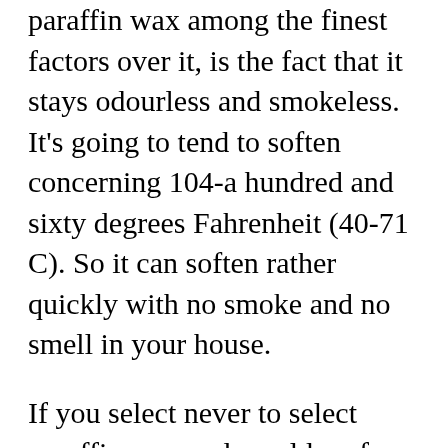paraffin wax among the finest factors over it, is the fact that it stays odourless and smokeless. It's going to tend to soften concerning 104-a hundred and sixty degrees Fahrenheit (40-71 C). So it can soften rather quickly with no smoke and no smell in your house.
If you select never to select paraffin wax and would prefer to use beeswax that's great in addition. Even so, beeswax will emanate off a honey scent when melting. And if you prefer to to employ beeswax but would love the lengthier burning time of employing a paraffin wax then you can blend the two alternatives. You will end up